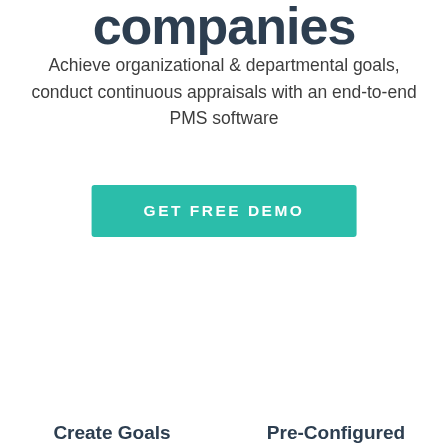companies
Achieve organizational & departmental goals, conduct continuous appraisals with an end-to-end PMS software
GET FREE DEMO
Create Goals
Pre-Configured